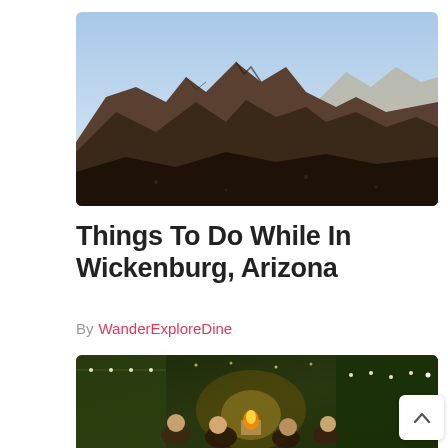[Figure (photo): Aerial/elevated view of dark rocky desert mountains and ridges under a clear blue sky, Wickenburg Arizona area landscape]
Things To Do While In Wickenburg, Arizona
By WanderExploreDine
[Figure (photo): Outdoor patio or restaurant scene at night with warm string lights, green foliage walls, and people socializing around a fire or table]